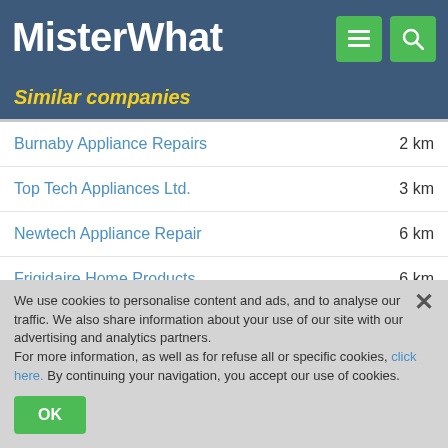MisterWhat
Similar companies
Burnaby Appliance Repairs  2 km
Top Tech Appliances Ltd.  3 km
Newtech Appliance Repair  6 km
Frigidaire Home Products  6 km
Kitchenaid  6 km
Inglis  7 km
Reliable Parts Ltd  7 km
Caloric  7 km
Jenn-Air  7 km
Whirlpool  7 km
We use cookies to personalise content and ads, and to analyse our traffic. We also share information about your use of our site with our advertising and analytics partners. For more information, as well as for refuse all or specific cookies, click here. By continuing your navigation, you accept our use of cookies.
OK